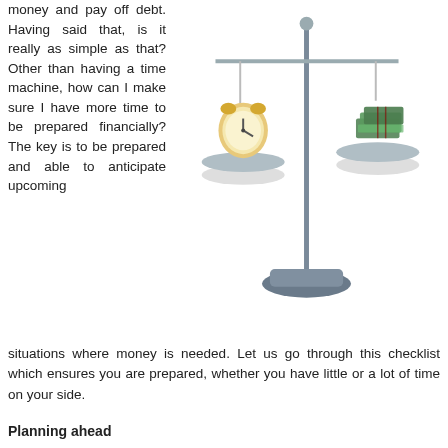money and pay off debt. Having said that, is it really as simple as that? Other than having a time machine, how can I make sure I have more time to be prepared financially? The key is to be prepared and able to anticipate upcoming situations where money is needed. Let us go through this checklist which ensures you are prepared, whether you have little or a lot of time on your side.
[Figure (illustration): A balance scale illustration showing a clock on the left pan and stacks of money on the right pan, representing the balance between time and money.]
Planning ahead
You know you tend to go on vacations at least once a year, so why leave it to the last minute to save money for an upcoming vacation? Even if you don't know when or where you will be going next (Vegas in August?) you should still have an idea of how much you need to save.  In fact, travel for some of us is such a and routine part of our lives, we have integrated it within our financial bud (see next point.)  Same goes with general life savings. You know you need to save money for the future (retirement, new house, etc.) so why not give yourself more time and start early? one of the most asked financial questions by baby boomers is whether they will have enough time to save for retirement. Had